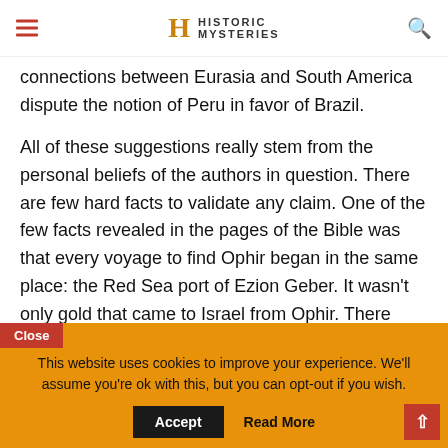Historic Mysteries
connections between Eurasia and South America dispute the notion of Peru in favor of Brazil.
All of these suggestions really stem from the personal beliefs of the authors in question. There are few hard facts to validate any claim. One of the few facts revealed in the pages of the Bible was that every voyage to find Ophir began in the same place: the Red Sea port of Ezion Geber. It wasn't only gold that came to Israel from Ophir. There
This website uses cookies to improve your experience. We'll assume you're ok with this, but you can opt-out if you wish.